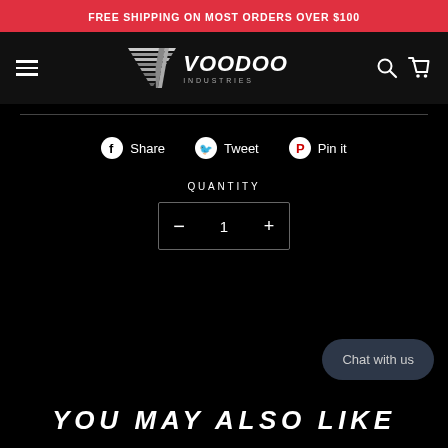FREE SHIPPING ON MOST ORDERS OVER $100
[Figure (logo): Voodoo Industries logo with striped V chevron graphic and 'VOODOO INDUSTRIES' text]
Share   Tweet   Pin it
QUANTITY
− 1 +
Chat with us
YOU MAY ALSO LIKE